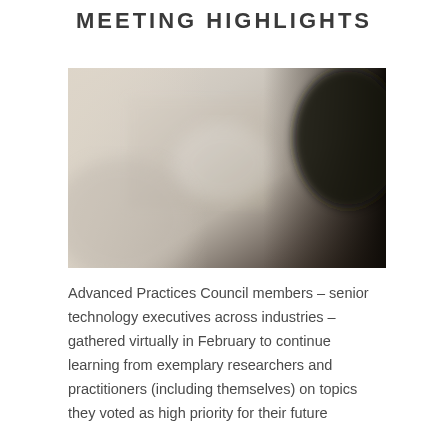MEETING HIGHLIGHTS
[Figure (photo): Blurred/out-of-focus photo showing what appears to be a virtual meeting or computer screen setup, with a dark figure or silhouette on the right side and soft beige/neutral tones on the left.]
Advanced Practices Council members – senior technology executives across industries – gathered virtually in February to continue learning from exemplary researchers and practitioners (including themselves) on topics they voted as high priority for their future